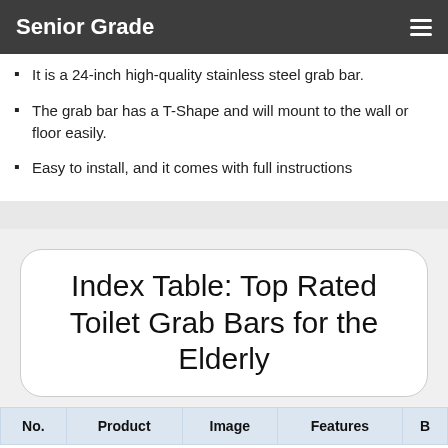Senior Grade
It is a 24-inch high-quality stainless steel grab bar.
The grab bar has a T-Shape and will mount to the wall or floor easily.
Easy to install, and it comes with full instructions
Index Table: Top Rated Toilet Grab Bars for the Elderly
| No. | Product | Image | Features | B |
| --- | --- | --- | --- | --- |